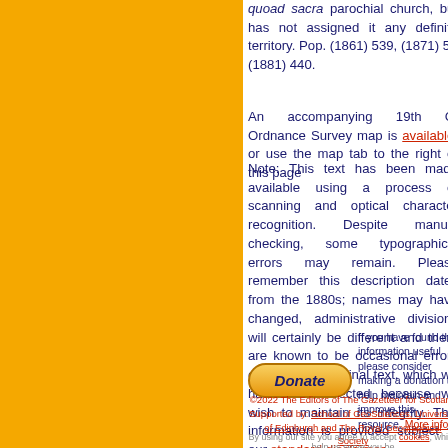quoad sacra parochial church, but has not assigned it any definite territory. Pop. (1861) 539, (1871) 5(cut off) (1881) 440.
An accompanying 19th C. Ordnance Survey map is available, or use the map tab to the right of this page
Note: This text has been made available using a process of scanning and optical character recognition. Despite manual checking, some typographical errors may remain. Please remember this description dates from the 1880s; names may have changed, administrative divisions will certainly be different and there are known to be occasional errors of fact in the original text, which we have not corrected because we wish to maintain its integrity. This information is provided subject to our standard disclaimer
[Figure (other): Donate button - orange rounded rectangle with italic bold blue text 'Donate']
If you have found this information useful please consider making a donation to help maintain and improve this resource. More info...
©2022 The Editors of The Gazetteer for Scotland Supported by: School of GeoSciences, University of Edinburgh and The Royal Geographical Society
By using our site you agree to accept cookies, which help us serve you be(tter)